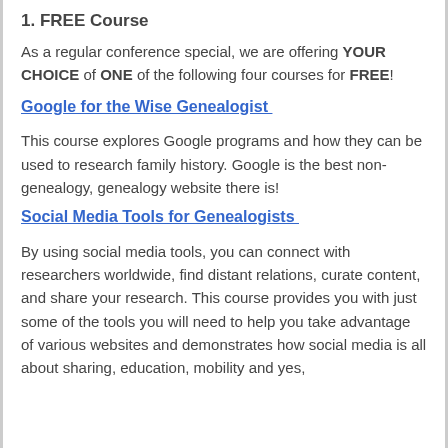1. FREE Course
As a regular conference special, we are offering YOUR CHOICE of ONE of the following four courses for FREE!
Google for the Wise Genealogist
This course explores Google programs and how they can be used to research family history. Google is the best non-genealogy, genealogy website there is!
Social Media Tools for Genealogists
By using social media tools, you can connect with researchers worldwide, find distant relations, curate content, and share your research. This course provides you with just some of the tools you will need to help you take advantage of various websites and demonstrates how social media is all about sharing, education, mobility and yes,